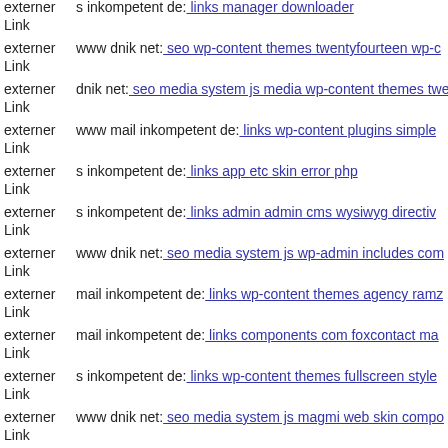externer Link   s inkompetent de: links manager downloader
externer Link   www dnik net: seo wp-content themes twentyfourteen wp-c
externer Link   dnik net: seo media system js media wp-content themes twe
externer Link   www mail inkompetent de: links wp-content plugins simple
externer Link   s inkompetent de: links app etc skin error php
externer Link   s inkompetent de: links admin admin cms wysiwyg directiv
externer Link   www dnik net: seo media system js wp-admin includes com
externer Link   mail inkompetent de: links wp-content themes agency ramz
externer Link   mail inkompetent de: links components com foxcontact ma
externer Link   s inkompetent de: links wp-content themes fullscreen style
externer Link   www dnik net: seo media system js magmi web skin compo